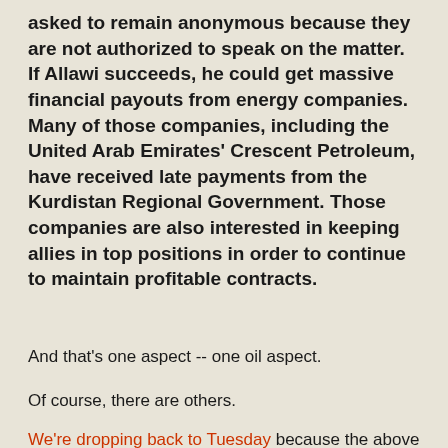asked to remain anonymous because they are not authorized to speak on the matter. If Allawi succeeds, he could get massive financial payouts from energy companies. Many of those companies, including the United Arab Emirates' Crescent Petroleum, have received late payments from the Kurdistan Regional Government. Those companies are also interested in keeping allies in top positions in order to continue to maintain profitable contracts.
And that's one aspect -- one oil aspect.
Of course, there are others.
We're dropping back to Tuesday because the above is one oil aspect but it's not the only one: